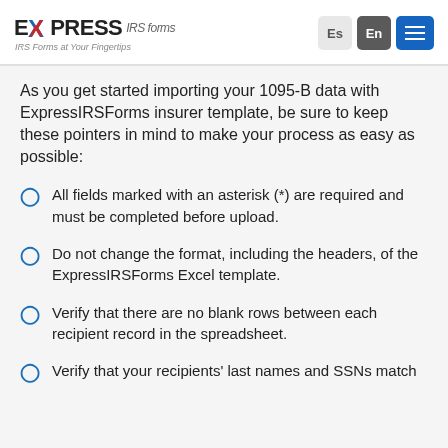EXPRESS IRS forms — IRS Forms at Your Fingertips
As you get started importing your 1095-B data with ExpressIRSForms insurer template, be sure to keep these pointers in mind to make your process as easy as possible:
All fields marked with an asterisk (*) are required and must be completed before upload.
Do not change the format, including the headers, of the ExpressIRSForms Excel template.
Verify that there are no blank rows between each recipient record in the spreadsheet.
Verify that your recipients' last names and SSNs match